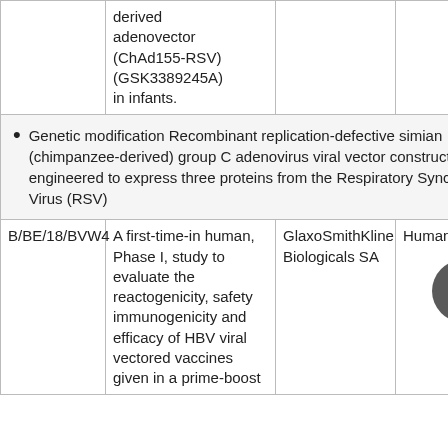|  | derived adenovector (ChAd155-RSV)(GSK3389245A) in infants. |  |  |
| --- | --- | --- | --- |
|  | derived adenovector (ChAd155-RSV)(GSK3389245A) in infants. |  |  |
| [bullet] Genetic modification Recombinant replication-defective simian (chimpanzee-derived) group C adenovirus viral vector construct engineered to express three proteins from the Respiratory Syncytial Virus (RSV) |  |  |  |
| B/BE/18/BVW4 | A first-time-in human, Phase I, study to evaluate the reactogenicity, safety immunogenicity and efficacy of HBV viral vectored vaccines given in a prime-boost | GlaxoSmithKline Biologicals SA | Humans |